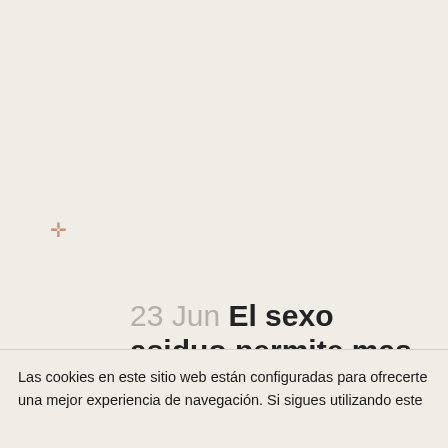✛
23 Jun El sexo asiduo permite mas fuerte una
Reno+NV+Nevada
review    ernesto bustamante  0 Comentarios  0 Likes
Las cookies en este sitio web están configuradas para ofrecerte una mejor experiencia de navegación. Si sigues utilizando este